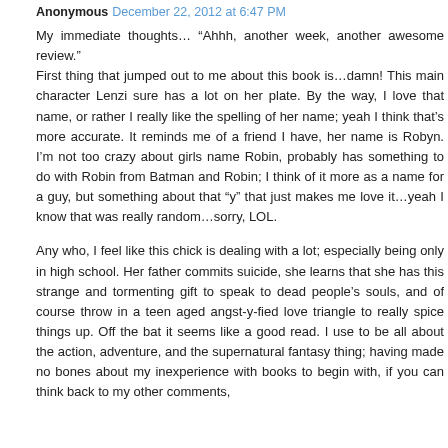Anonymous December 22, 2012 at 6:47 PM
My immediate thoughts… “Ahhh, another week, another awesome review.”
First thing that jumped out to me about this book is…damn! This main character Lenzi sure has a lot on her plate. By the way, I love that name, or rather I really like the spelling of her name; yeah I think that’s more accurate. It reminds me of a friend I have, her name is Robyn. I’m not too crazy about girls name Robin, probably has something to do with Robin from Batman and Robin; I think of it more as a name for a guy, but something about that “y” that just makes me love it…yeah I know that was really random…sorry, LOL.
Any who, I feel like this chick is dealing with a lot; especially being only in high school. Her father commits suicide, she learns that she has this strange and tormenting gift to speak to dead people’s souls, and of course throw in a teen aged angst-y-fied love triangle to really spice things up. Off the bat it seems like a good read. I use to be all about the action, adventure, and the supernatural fantasy thing; having made no bones about my inexperience with books to begin with, if you can think back to my other comments,